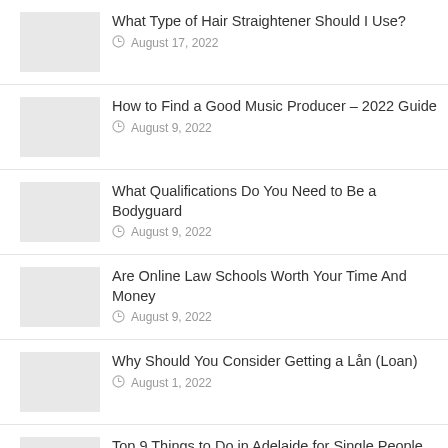What Type of Hair Straightener Should I Use?
August 17, 2022
How to Find a Good Music Producer – 2022 Guide
August 9, 2022
What Qualifications Do You Need to Be a Bodyguard
August 9, 2022
Are Online Law Schools Worth Your Time And Money
August 9, 2022
Why Should You Consider Getting a Lån (Loan)
August 1, 2022
Top 9 Things to Do in Adelaide for Single People